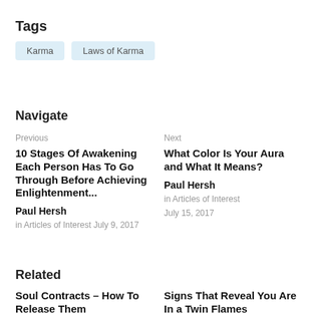Tags
Karma
Laws of Karma
Navigate
Previous
10 Stages Of Awakening Each Person Has To Go Through Before Achieving Enlightenment...
Paul Hersh
in Articles of Interest July 9, 2017
Next
What Color Is Your Aura and What It Means?
Paul Hersh
in Articles of Interest
July 15, 2017
Related
Soul Contracts – How To Release Them
Signs That Reveal You Are In a Twin Flames